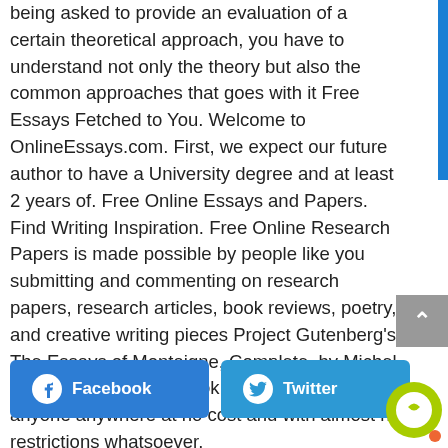being asked to provide an evaluation of a certain theoretical approach, you have to understand not only the theory but also the common approaches that goes with it Free Essays Fetched to You. Welcome to OnlineEssays.com. First, we expect our future author to have a University degree and at least 2 years of. Free Online Essays and Papers. Find Writing Inspiration. Free Online Research Papers is made possible by people like you submitting and commenting on research papers, research articles, book reviews, poetry, and creative writing pieces Project Gutenberg's The Essays of Montaigne, Complete, by Michel de Montaigne This eBook is for the use of anyone anywhere at no cost and with almost no restrictions whatsoever.
[Figure (other): Facebook and Twitter share buttons]